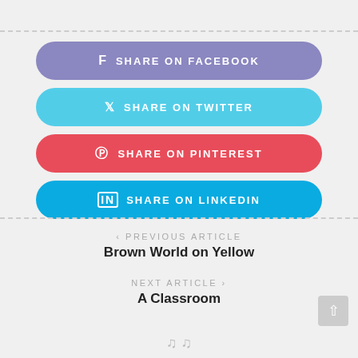f SHARE ON FACEBOOK
SHARE ON TWITTER
SHARE ON PINTEREST
in SHARE ON LINKEDIN
< PREVIOUS ARTICLE
Brown World on Yellow
NEXT ARTICLE >
A Classroom